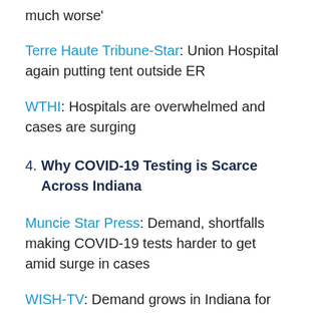much worse'
Terre Haute Tribune-Star: Union Hospital again putting tent outside ER
WTHI: Hospitals are overwhelmed and cases are surging
4. Why COVID-19 Testing is Scarce Across Indiana
Muncie Star Press: Demand, shortfalls making COVID-19 tests harder to get amid surge in cases
WISH-TV: Demand grows in Indiana for COVID-19 testing; rapid tests in short